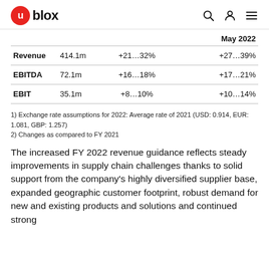u-blox
|  |  |  | May 2022 |
| --- | --- | --- | --- |
| Revenue | 414.1m | +21…32% | +27…39% |
| EBITDA | 72.1m | +16…18% | +17…21% |
| EBIT | 35.1m | +8…10% | +10…14% |
1) Exchange rate assumptions for 2022: Average rate of 2021 (USD: 0.914, EUR: 1.081, GBP: 1.257)
2) Changes as compared to FY 2021
The increased FY 2022 revenue guidance reflects steady improvements in supply chain challenges thanks to solid support from the company's highly diversified supplier base, expanded geographic customer footprint, robust demand for new and existing products and solutions and continued strong